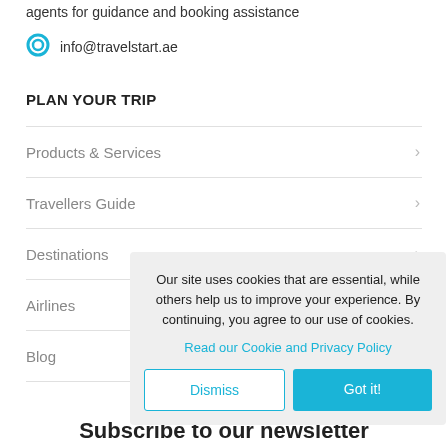agents for guidance and booking assistance
info@travelstart.ae
PLAN YOUR TRIP
Products & Services
Travellers Guide
Destinations
Airlines
Blog
Our site uses cookies that are essential, while others help us to improve your experience. By continuing, you agree to our use of cookies.
Read our Cookie and Privacy Policy
Dismiss
Got it!
Subscribe to our newsletter